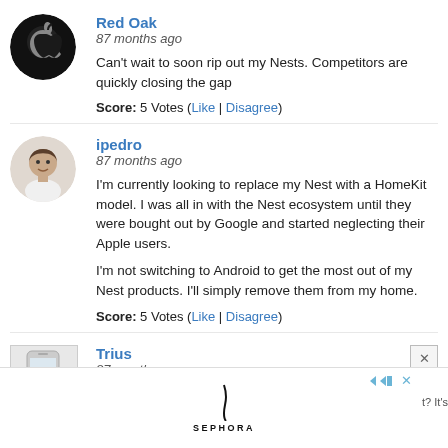Red Oak
87 months ago
Can't wait to soon rip out my Nests. Competitors are quickly closing the gap
Score: 5 Votes (Like | Disagree)
ipedro
87 months ago
I'm currently looking to replace my Nest with a HomeKit model. I was all in with the Nest ecosystem until they were bought out by Google and started neglecting their Apple users.

I'm not switching to Android to get the most out of my Nest products. I'll simply remove them from my home.
Score: 5 Votes (Like | Disagree)
Trius
87 months ago
[Figure (other): Sephora advertisement banner with logo]